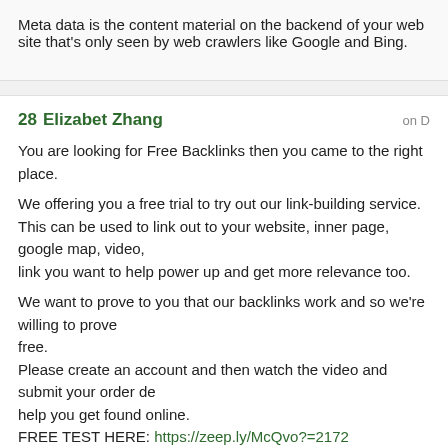Meta data is the content material on the backend of your web site that's only seen by web crawlers like Google and Bing.
28  Elizabet Zhang
You are looking for Free Backlinks then you came to the right place.

We offering you a free trial to try out our link-building service.
This can be used to link out to your website, inner page, google map, video, link you want to help power up and get more relevance too.

We want to prove to you that our backlinks work and so we're willing to prove free.
Please create an account and then watch the video and submit your order de help you get found online.
FREE TEST HERE: https://zeep.ly/McQvo?=2172
29  Jasmin Weigall
You are looking for Free Backlinks then you came to the right place.